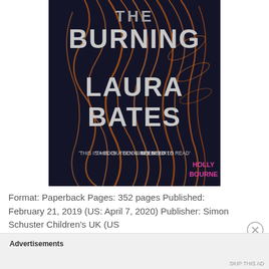[Figure (photo): Book cover of 'The Burning' by Laura Bates. Dark background with orange/copper flame-like hair swirls. Title text in large bold silver/white letters. Quote: 'THIS IS A BOOK TEEN GIRLS NEED TO READ' – HOLLY BOURNE in pink.]
Format: Paperback Pages: 352 pages Published: February 21, 2019 (US: April 7, 2020) Publisher: Simon Schuster Children's UK (US
Advertisements